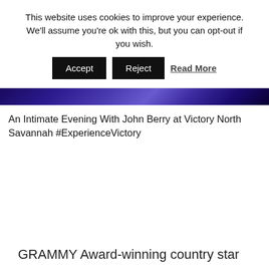This website uses cookies to improve your experience. We'll assume you're ok with this, but you can opt-out if you wish.
Accept   Reject   Read More
[Figure (photo): Partial concert/event photo with dark blue and purple tones, cropped at top of page]
An Intimate Evening With John Berry at Victory North Savannah #ExperienceVictory
GRAMMY Award-winning country star John Berry celebrates 41 years as a Country music performer in 2020 and songwriter as well as